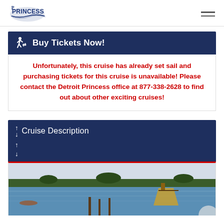Princess (logo) | hamburger menu
Buy Tickets Now!
Unfortunately, this cruise has already set sail and purchasing tickets for this cruise is unavailable! Please contact the Detroit Princess office at 877-338-2628 to find out about other exciting cruises!
Cruise Description
[Figure (photo): Waterfront scene with a river, dock, trees along the horizon, and a boat structure visible in the foreground.]